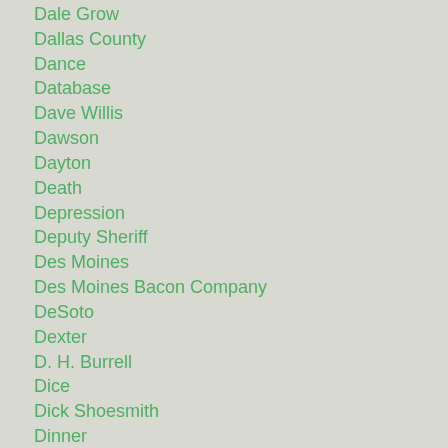Dale Grow
Dallas County
Dance
Database
Dave Willis
Dawson
Dayton
Death
Depression
Deputy Sheriff
Des Moines
Des Moines Bacon Company
DeSoto
Dexter
D. H. Burrell
Dice
Dick Shoesmith
Dinner
Dog
Donald Johnson
Door
Dress